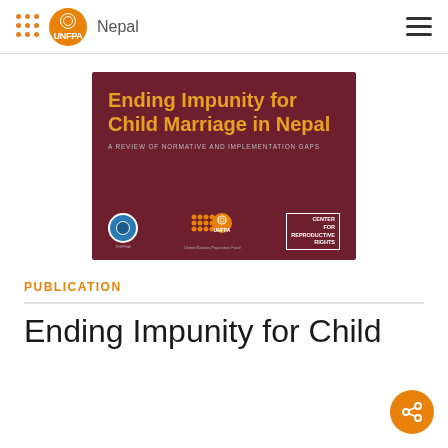UNFPA Nepal
[Figure (illustration): Book cover of 'Ending Impunity for Child Marriage in Nepal: A Review of Normative and Implementation Gaps' on dark maroon background with UNFPA and Center for Reproductive Rights logos]
PUBLICATION
Ending Impunity for Child